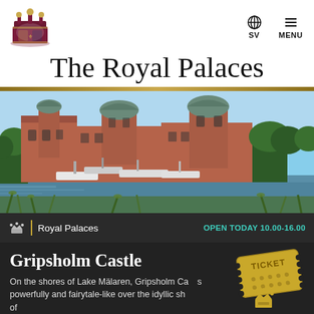[Figure (logo): Swedish Royal coat of arms logo]
SV | MENU
The Royal Palaces
[Figure (photo): Gripsholm Castle viewed from the water with sailboats in the foreground and trees surrounding the castle]
Royal Palaces   OPEN TODAY 10.00-16.00
Gripsholm Castle
On the shores of Lake Mälaren, Gripsholm Ca... powerfully and fairytale-like over the idyllic sh... of
[Figure (illustration): Golden ticket with crown illustration overlay]